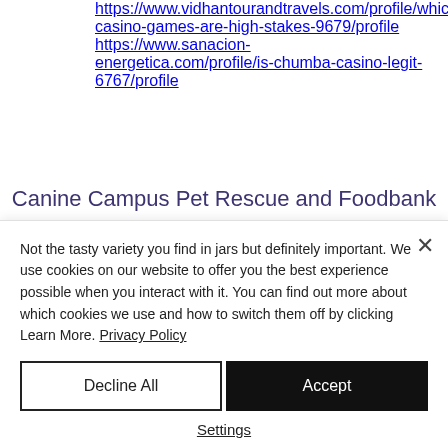https://www.vidhantourandtravels.com/profile/which-casino-games-are-high-stakes-9679/profile
https://www.sanacion-energetica.com/profile/is-chumba-casino-legit-6767/profile
Canine Campus Pet Rescue and Foodbank
Not the tasty variety you find in jars but definitely important. We use cookies on our website to offer you the best experience possible when you interact with it. You can find out more about which cookies we use and how to switch them off by clicking Learn More. Privacy Policy
Decline All
Accept
Settings